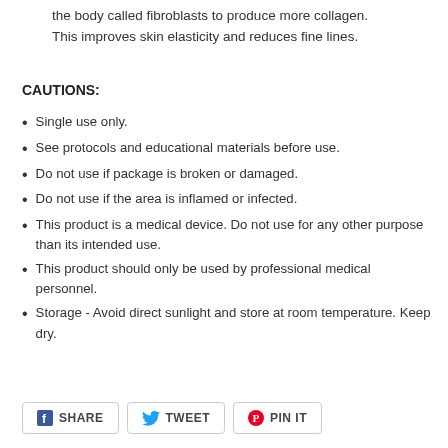the body called fibroblasts to produce more collagen. This improves skin elasticity and reduces fine lines.
CAUTIONS:
Single use only.
See protocols and educational materials before use.
Do not use if package is broken or damaged.
Do not use if the area is inflamed or infected.
This product is a medical device. Do not use for any other purpose than its intended use.
This product should only be used by professional medical personnel.
Storage - Avoid direct sunlight and store at room temperature. Keep dry.
SHARE   TWEET   PIN IT